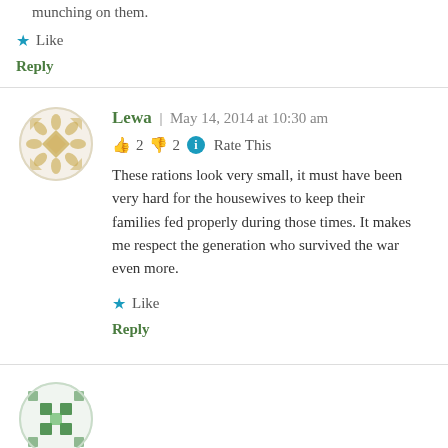munching on them.
Like
Reply
Lewa | May 14, 2014 at 10:30 am
👍 2 👎 2 ℹ Rate This
These rations look very small, it must have been very hard for the housewives to keep their families fed properly during those times. It makes me respect the generation who survived the war even more.
Like
Reply
[Figure (illustration): Circular avatar with green decorative quilt-like pattern at bottom of page]